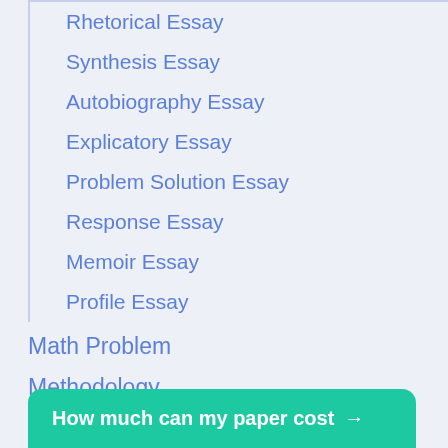Rhetorical Essay
Synthesis Essay
Autobiography Essay
Explicatory Essay
Problem Solution Essay
Response Essay
Memoir Essay
Profile Essay
Math Problem
Methodology
Presentation
How much can my paper cost →